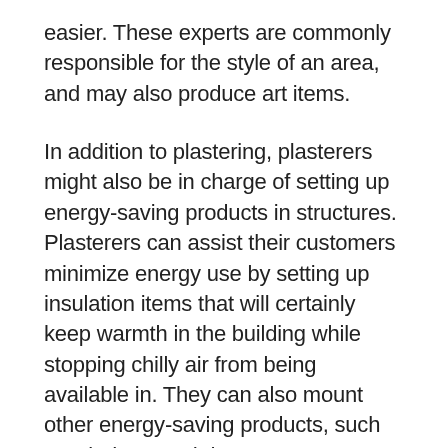easier. These experts are commonly responsible for the style of an area, and may also produce art items.
In addition to plastering, plasterers might also be in charge of setting up energy-saving products in structures. Plasterers can assist their customers minimize energy use by setting up insulation items that will certainly keep warmth in the building while stopping chilly air from being available in. They can also mount other energy-saving products, such as windows and doors. As even more people become aware of their environmental effect, need for these materials is climbing. A Plasterer can be an integral part of this expanding industry.